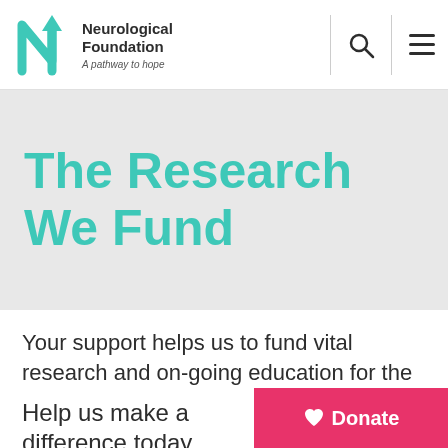[Figure (logo): Neurological Foundation logo with teal N-arrow icon, text 'Neurological Foundation' and tagline 'A pathway to hope']
The Research We Fund
Your support helps us to fund vital research and on-going education for the next generation of neuroscientists and
Help us make a difference today
Donate